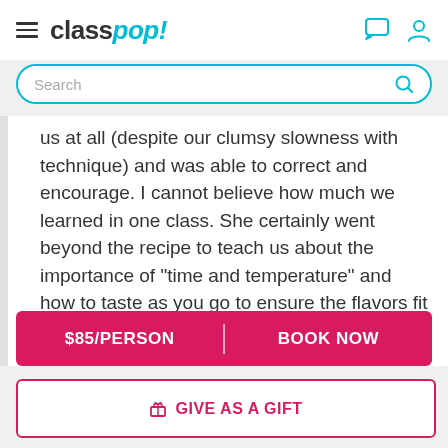class pop!
Search
us at all (despite our clumsy slowness with technique) and was able to correct and encourage. I cannot believe how much we learned in one class. She certainly went beyond the recipe to teach us about the importance of “time and temperature” and how to taste as you go to ensure the flavors fit your palate. I have walked away with so many new skills I can start applying right away
$85/PERSON   BOOK NOW
🎁 GIVE AS A GIFT